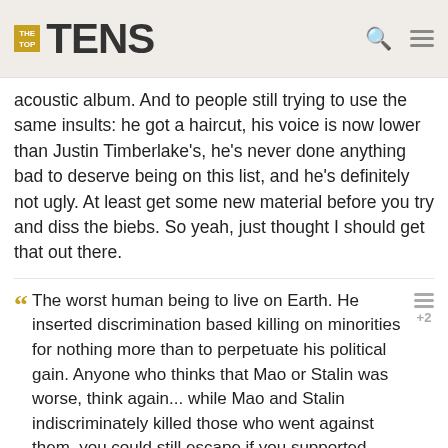THE TOP TENS
acoustic album. And to people still trying to use the same insults: he got a haircut, his voice is now lower than Justin Timberlake's, he's never done anything bad to deserve being on this list, and he's definitely not ugly. At least get some new material before you try and diss the biebs. So yeah, just thought I should get that out there.
The worst human being to live on Earth. He inserted discrimination based killing on minorities for nothing more than to perpetuate his political gain. Anyone who thinks that Mao or Stalin was worse, think again... while Mao and Stalin indiscriminately killed those who went against them, you could still escape if you supported them. If you were Jewish, you would die no matter what. Even if you ran, his plan was to kill you when he conquered the rest of the world.
 - nhs_student
Hitler is without a doubt the worst, the most evil and the most despicable person in human history. He